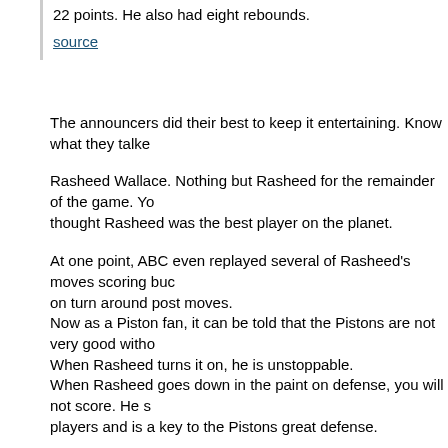22 points. He also had eight rebounds.
source
The announcers did their best to keep it entertaining. Know what they talke
Rasheed Wallace. Nothing but Rasheed for the remainder of the game. Yo thought Rasheed was the best player on the planet.
At one point, ABC even replayed several of Rasheed's moves scoring buc on turn around post moves.
Now as a Piston fan, it can be told that the Pistons are not very good witho When Rasheed turns it on, he is unstoppable.
When Rasheed goes down in the paint on defense, you will not score. He s players and is a key to the Pistons great defense.
Often with Rasheed it is keeping him motivated. You see there are nights w just gets bored or cranky and then you see little production and maybe a te
That is the Rasheed that most fans think of when thinking of Rasheed.
The real Rasheed is one of the best big men in the league.
Did you know Rasheed keeps a library of books on the team plane and rea